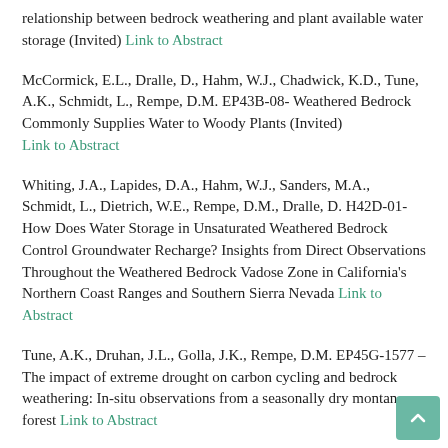relationship between bedrock weathering and plant available water storage (Invited) Link to Abstract
McCormick, E.L., Dralle, D., Hahm, W.J., Chadwick, K.D., Tune, A.K., Schmidt, L., Rempe, D.M. EP43B-08- Weathered Bedrock Commonly Supplies Water to Woody Plants (Invited) Link to Abstract
Whiting, J.A., Lapides, D.A., Hahm, W.J., Sanders, M.A., Schmidt, L., Dietrich, W.E., Rempe, D.M., Dralle, D. H42D-01- How Does Water Storage in Unsaturated Weathered Bedrock Control Groundwater Recharge? Insights from Direct Observations Throughout the Weathered Bedrock Vadose Zone in California's Northern Coast Ranges and Southern Sierra Nevada Link to Abstract
Tune, A.K., Druhan, J.L., Golla, J.K., Rempe, D.M. EP45G-1577 – The impact of extreme drought on carbon cycling and bedrock weathering: In-situ observations from a seasonally dry montane forest Link to Abstract